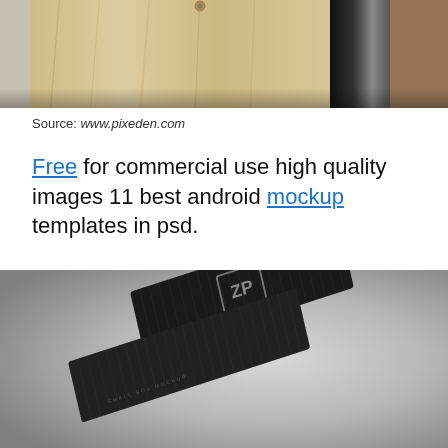[Figure (photo): Wooden box with a dark glass bottle, product mockup photography on grey background]
Source: www.pixeden.com
Free for commercial use high quality images 11 best android mockup templates in psd.
[Figure (photo): Small black textured gift box mockup with lid off, showing ZP logo on lid, on grey gradient background]